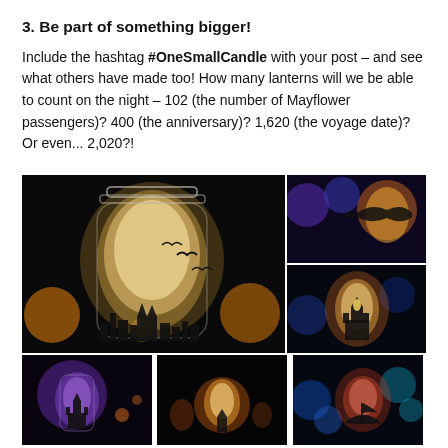3. Be part of something bigger!
Include the hashtag #OneSmallCandle with your post – and see what others have made too! How many lanterns will we be able to count on the night – 102 (the number of Mayflower passengers)? 400 (the anniversary)? 1,620 (the voyage date)? Or even... 2,020?!
[Figure (photo): A glowing mason jar lantern with silhouettes of birds and buildings against a dark background, with bokeh orange lights]
[Figure (photo): A glowing lantern with silhouette of a fish/whale against purple and orange light]
[Figure (photo): A mason jar lantern with castle silhouette glowing warm orange]
[Figure (photo): A purple glowing mason jar lantern]
[Figure (photo): Multiple jar lanterns glowing orange]
[Figure (photo): A lantern with ship silhouette against blue and orange glow]